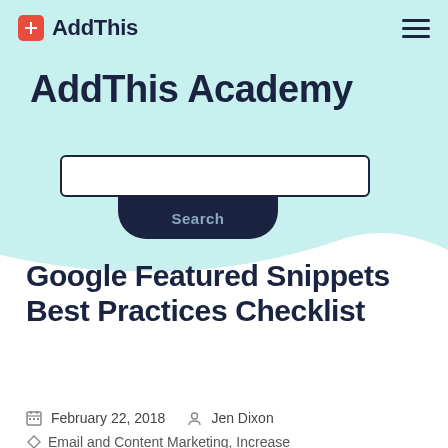AddThis
AddThis Academy
[Figure (screenshot): Search input box with Search button below, on teal hero background]
Google Featured Snippets Best Practices Checklist
February 22, 2018   Jen Dixon
Email and Content Marketing, Increase